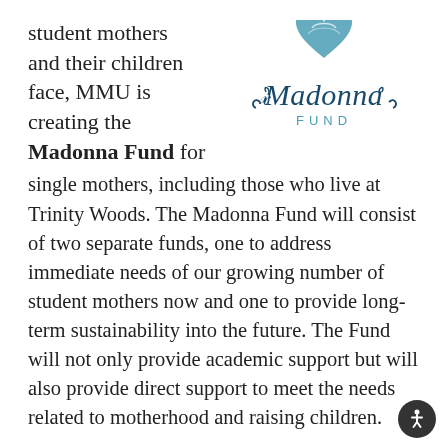student mothers and their children face, MMU is creating the Madonna Fund for single mothers, including those who live at Trinity Woods. The Madonna Fund will consist of two separate funds, one to address immediate needs of our growing number of student mothers now and one to provide long-term sustainability into the future. The Fund will not only provide academic support but will also provide direct support to meet the needs related to motherhood and raising children.
[Figure (logo): Madonna Fund logo — a teal heart shape with swirling design above the scripted text 'Madonna' in navy/teal cursive, with 'FUND' in small teal sans-serif capitals below]
Trinity Woods has been open to students and their children since January 2022.